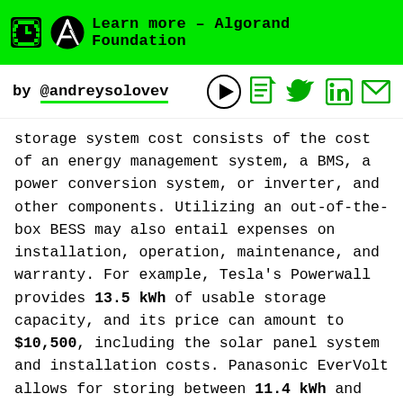Learn more – Algorand Foundation
by @andreysolovev
storage system cost consists of the cost of an energy management system, a BMS, a power conversion system, or inverter, and other components. Utilizing an out-of-the-box BESS may also entail expenses on installation, operation, maintenance, and warranty. For example, Tesla's Powerwall provides 13.5 kWh of usable storage capacity, and its price can amount to $10,500, including the solar panel system and installation costs. Panasonic EverVolt allows for storing between 11.4 kWh and 17.1 kWh of energy, which will cost from $15,000 to $20,000 with solar panels, installation, and set up.